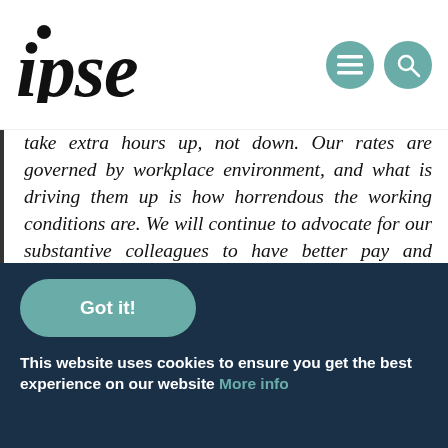ipse
take extra hours up, not down. Our rates are governed by workplace environment, and what is driving them up is how horrendous the working conditions are. We will continue to advocate for our substantive colleagues to have better pay and conditions and support those who find the conditions of substantive work so intolerable that they strike out on their own.”
Got it!
This website uses cookies to ensure you get the best experience on our website. More info